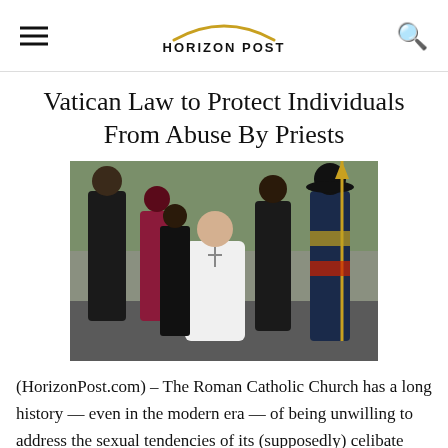HORIZON POST
Vatican Law to Protect Individuals From Abuse By Priests
[Figure (photo): Group of Catholic clergy including Pope Francis in white robes and a Swiss Guard, walking together outdoors at the Vatican]
(HorizonPost.com) – The Roman Catholic Church has a long history — even in the modern era — of being unwilling to address the sexual tendencies of its (supposedly) celibate clergy